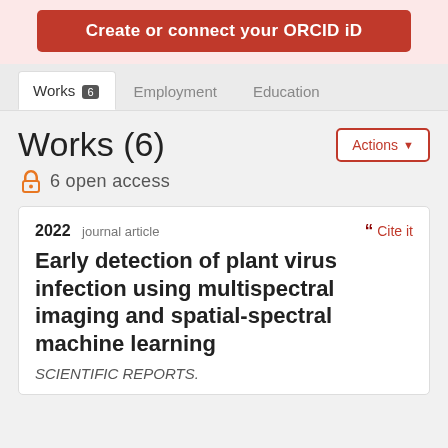[Figure (screenshot): Red button: Create or connect your ORCID iD]
Works 6  Employment  Education
Works (6)
6 open access
2022  journal article  ❝ Cite it
Early detection of plant virus infection using multispectral imaging and spatial-spectral machine learning
SCIENTIFIC REPORTS.